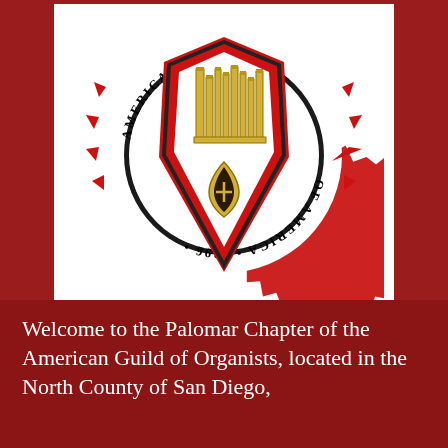[Figure (logo): American Guild of Organists seal/logo — a shield with organ pipes on a red decorative badge with the text 'AMERICAN ORGANISTS' and '1896' encircling the shield.]
Welcome to the Palomar Chapter of the American Guild of Organists, located in the North County of San Diego,